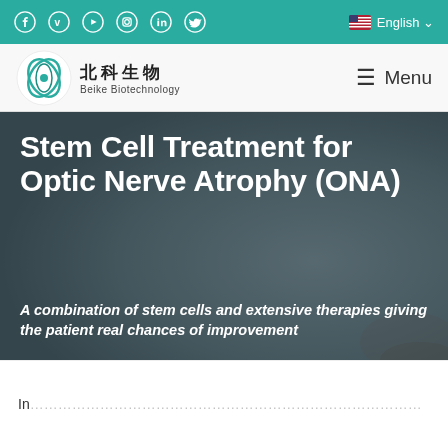Social media icons: Facebook, Vimeo, YouTube, Instagram, LinkedIn, Twitter | English language selector
[Figure (logo): Beike Biotechnology logo with Chinese characters 北科生物 and stylized green leaf/cell icon]
☰ Menu
Stem Cell Treatment for Optic Nerve Atrophy (ONA)
A combination of stem cells and extensive therapies giving the patient real chances of improvement
...